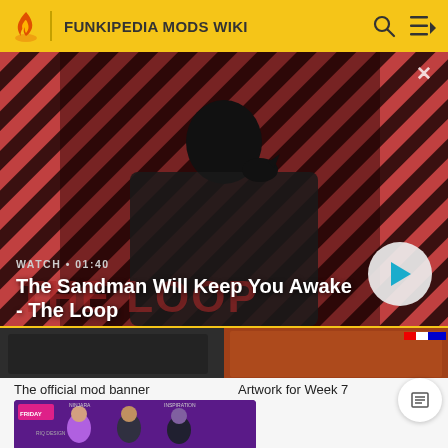FUNKIPEDIA MODS WIKI
[Figure (screenshot): Video banner for 'The Sandman Will Keep You Awake - The Loop' showing a dark-cloaked figure with a raven on a diagonal striped red/dark background. Watch time 01:40 shown. Play button visible bottom right.]
The official mod banner
Artwork for Week 7
[Figure (illustration): Cartoon chibi characters from Friday Night Funkin mod - three characters labeled with text including NINJARA and INSPIRATION on a purple background]